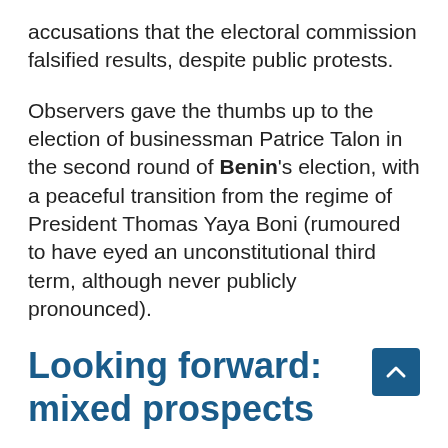accusations that the electoral commission falsified results, despite public protests.
Observers gave the thumbs up to the election of businessman Patrice Talon in the second round of Benin's election, with a peaceful transition from the regime of President Thomas Yaya Boni (rumoured to have eyed an unconstitutional third term, although never publicly pronounced).
Looking forward: mixed prospects
Will the rest of 2016 change this mostly depressing